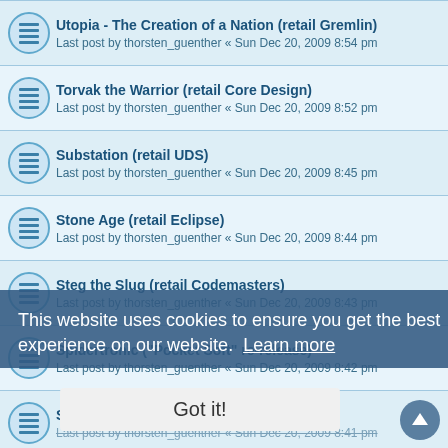Utopia - The Creation of a Nation (retail Gremlin)
Last post by thorsten_guenther « Sun Dec 20, 2009 8:54 pm
Torvak the Warrior (retail Core Design)
Last post by thorsten_guenther « Sun Dec 20, 2009 8:52 pm
Substation (retail UDS)
Last post by thorsten_guenther « Sun Dec 20, 2009 8:45 pm
Stone Age (retail Eclipse)
Last post by thorsten_guenther « Sun Dec 20, 2009 8:44 pm
Steg the Slug (retail Codemasters)
Last post by thorsten_guenther « Sun Dec 20, 2009 8:43 pm
Spidertronic ("Pocket Soft" re-release)
Last post by thorsten_guenther « Sun Dec 20, 2009 8:42 pm
Spherical (retail Rainbow Arts)
Last post by thorsten_guenther « Sun Dec 20, 2009 8:41 pm
Last post by thorsten_guenther « Sun Dec 20, 2009 8:40 pm
Sir Fred (from "Winning 5" compilation)
Last post by thorsten_guenther « Sun Dec 20, 2009 8:39 pm
Sidewalk (retail Infogrames)
Last post by thorsten_guenther « Sun Dec 20, 2009 8:38 pm
Shadowlands (retail Domark)
This website uses cookies to ensure you get the best experience on our website. Learn more
Got it!